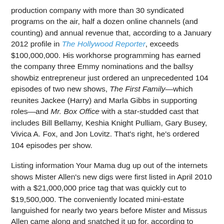production company with more than 30 syndicated programs on the air, half a dozen online channels (and counting) and annual revenue that, according to a January 2012 profile in The Hollywood Reporter, exceeds $100,000,000. His workhorse programming has earned the company three Emmy nominations and the ballsy showbiz entrepreneur just ordered an unprecedented 104 episodes of two new shows, The First Family—which reunites Jackee (Harry) and Marla Gibbs in supporting roles—and Mr. Box Office with a star-studded cast that includes Bill Bellamy, Keshia Knight Pulliam, Gary Busey, Vivica A. Fox, and Jon Lovitz. That's right, he's ordered 104 episodes per show.
Listing information Your Mama dug up out of the internets shows Mister Allen's new digs were first listed in April 2010 with a $21,000,000 price tag that was quickly cut to $19,500,000. The conveniently located mini-estate languished for nearly two years before Mister and Missus Allen came along and snatched it up for, according to calculations on our bejeweled abacus, almost 20% less than the seller originally wanted. Property records show the seller was Dallas, TX-based billionaire banker Gerald J. Ford who